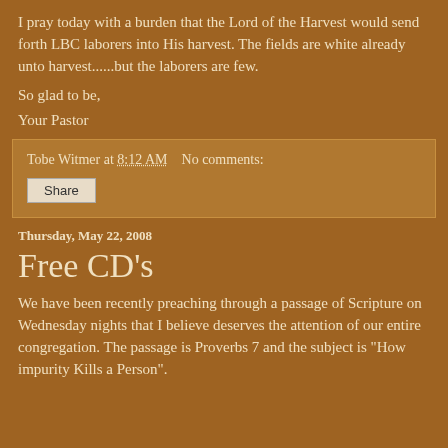I pray today with a burden that the Lord of the Harvest would send forth LBC laborers into His harvest. The fields are white already unto harvest......but the laborers are few.
So glad to be,
Your Pastor
Tobe Witmer at 8:12 AM   No comments:
Share
Thursday, May 22, 2008
Free CD's
We have been recently preaching through a passage of Scripture on Wednesday nights that I believe deserves the attention of our entire congregation. The passage is Proverbs 7 and the subject is "How impurity Kills a Person".